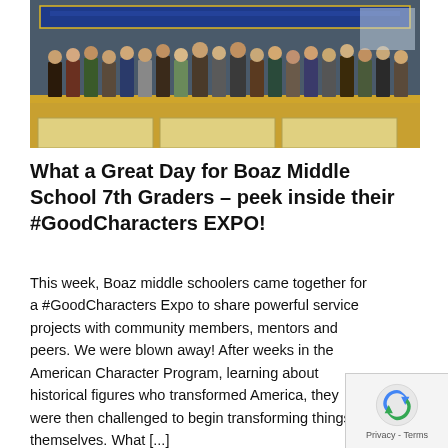[Figure (photo): Group photo of approximately 20 people standing on a stage in front of a blue banner, with a wooden stage floor and steps visible below]
What a Great Day for Boaz Middle School 7th Graders – peek inside their #GoodCharacters EXPO!
This week, Boaz middle schoolers came together for a #GoodCharacters Expo to share powerful service projects with community members, mentors and peers. We were blown away! After weeks in the American Character Program, learning about historical figures who transformed America, they were then challenged to begin transforming things themselves. What [...]